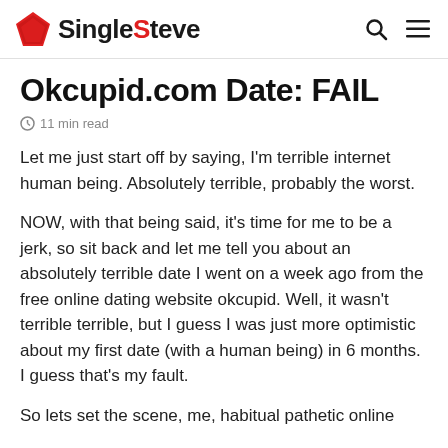SingleSteve
Okcupid.com Date: FAIL
11 min read
Let me just start off by saying, I'm terrible internet human being. Absolutely terrible, probably the worst.
NOW, with that being said, it's time for me to be a jerk, so sit back and let me tell you about an absolutely terrible date I went on a week ago from the free online dating website okcupid. Well, it wasn't terrible terrible, but I guess I was just more optimistic about my first date (with a human being) in 6 months. I guess that's my fault.
So lets set the scene, me, habitual pathetic online